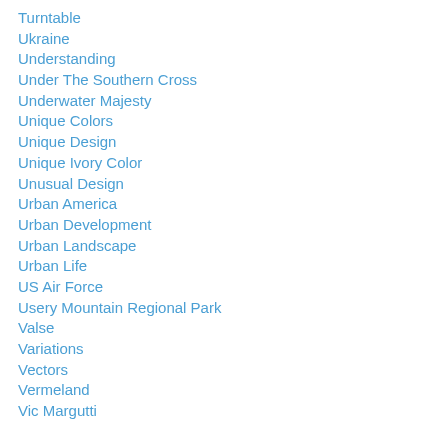Turntable
Ukraine
Understanding
Under The Southern Cross
Underwater Majesty
Unique Colors
Unique Design
Unique Ivory Color
Unusual Design
Urban America
Urban Development
Urban Landscape
Urban Life
US Air Force
Usery Mountain Regional Park
Valse
Variations
Vectors
Vermeland
Vic Margutti